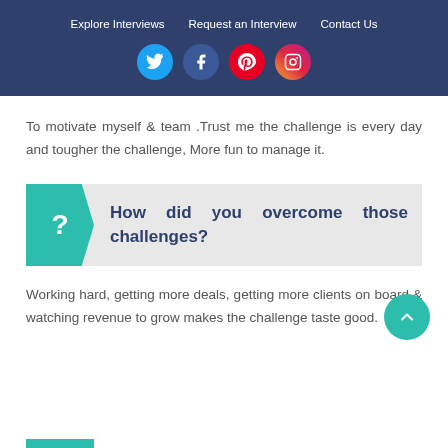Explore Interviews | Request an Interview | Contact Us
To motivate myself & team .Trust me the challenge is every day and tougher the challenge, More fun to manage it.
How did you overcome those challenges?
Working hard, getting more deals, getting more clients on board & watching revenue to grow makes the challenge taste good.